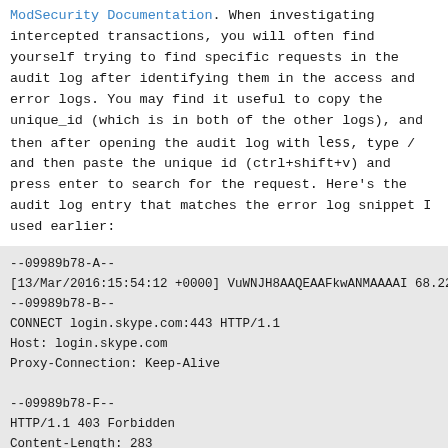ModSecurity Documentation. When investigating intercepted transactions, you will often find yourself trying to find specific requests in the audit log after identifying them in the access and error logs. You may find it useful to copy the unique_id (which is in both of the other logs), and then after opening the audit log with less, type / and then paste the unique id (ctrl+shift+v) and press enter to search for the request. Here's the audit log entry that matches the error log snippet I used earlier:
--09989b78-A--
[13/Mar/2016:15:54:12 +0000] VuWNJH8AAQEAAFkwANMAAAAI 68.224.235.7
--09989b78-B--
CONNECT login.skype.com:443 HTTP/1.1
Host: login.skype.com
Proxy-Connection: Keep-Alive

--09989b78-F--
HTTP/1.1 403 Forbidden
Content-Length: 283
Content-Type: text/html; charset=iso-8859-1

--09989b78-E--
<!DOCTYPE HTML PUBLIC "-//IETF//DTD HTML 2.0//EN">
<html><head>
<title>403 Forbidden</title>
</head><body>